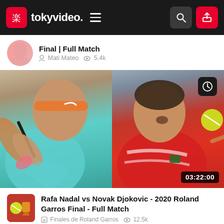tokyvideo.
Final | Full Match — Mati Mateo · 5.4k views
[Figure (photo): Split image of two tennis players: Rafael Nadal (left, in teal shirt and orange headband) and Novak Djokovic (right, in red Lacoste shirt) during a match. Duration badge reads 03:22:00.]
Rafa Nadal vs Novak Djokovic - 2020 Roland Garros Final - Full Match — Finales de Roland Garros · 12.5k views